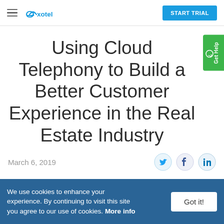exotel — START TRIAL
Using Cloud Telephony to Build a Better Customer Experience in the Real Estate Industry
March 6, 2019
We use cookies to enhance your experience. By continuing to visit this site you agree to our use of cookies. More info